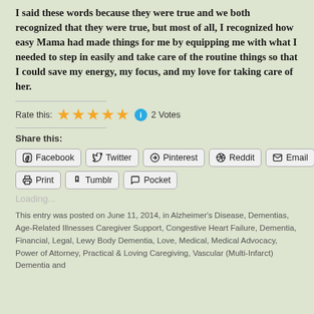I said these words because they were true and we both recognized that they were true, but most of all, I recognized how easy Mama had made things for me by equipping me with what I needed to step in easily and take care of the routine things so that I could save my energy, my focus, and my love for taking care of her.
Rate this: ★★★★★ ℹ 2 Votes
Share this:
Facebook Twitter Pinterest Reddit Email Print Tumblr Pocket
Loading...
This entry was posted on June 11, 2014, in Alzheimer's Disease, Dementias, Age-Related Illnesses Caregiver Support, Congestive Heart Failure, Dementia, Financial, Legal, Lewy Body Dementia, Love, Medical, Medical Advocacy, Power of Attorney, Practical & Loving Caregiving, Vascular (Multi-Infarct) Dementia and